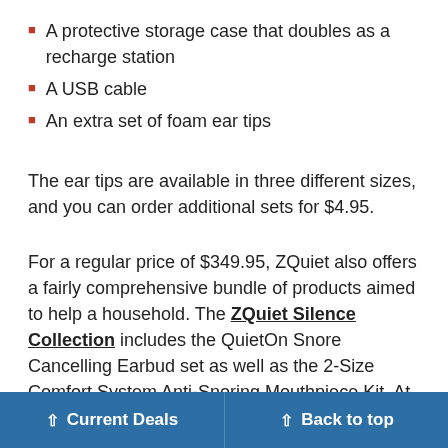A protective storage case that doubles as a recharge station
A USB cable
An extra set of foam ear tips
The ear tips are available in three different sizes, and you can order additional sets for $4.95.
For a regular price of $349.95, ZQuiet also offers a fairly comprehensive bundle of products aimed to help a household. The ZQuiet Silence Collection includes the QuietOn Snore Cancelling Earbud set as well as the 2-Size Comfort System Anti-Snoring Mouthpiece Kit. At its normal price, this doesn’t represent savings compared to purchasing the two products separately nities often pres
Current Deals   Back to top